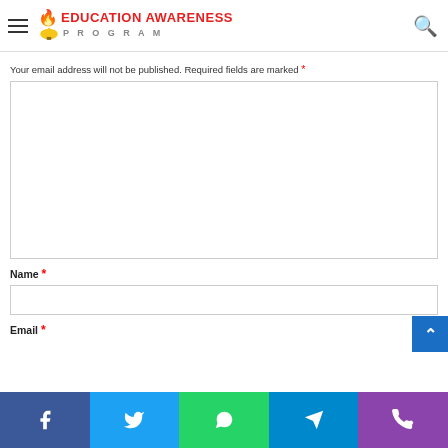EDUCATION AWARENESS PROGRAM
Your email address will not be published. Required fields are marked *
Name *
Email *